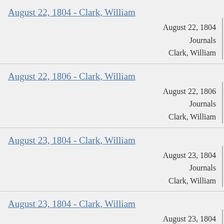August 22, 1804 - Clark, William
August 22, 1804
Journals
Clark, William
August 22, 1806 - Clark, William
August 22, 1806
Journals
Clark, William
August 23, 1804 - Clark, William
August 23, 1804
Journals
Clark, William
August 23, 1804 - Clark, William
August 23, 1804
Journals
Clark, William